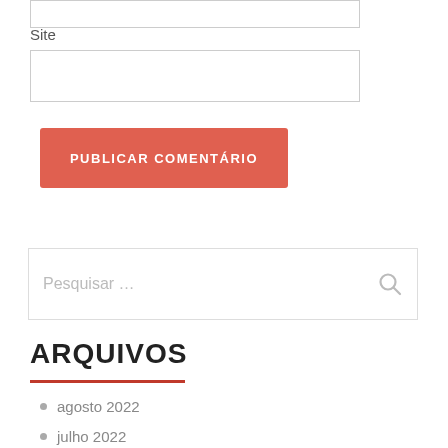[Figure (other): Empty input field at top of page]
Site
[Figure (other): Site input text field]
PUBLICAR COMENTÁRIO
[Figure (other): Search box with placeholder text Pesquisar ... and search icon]
ARQUIVOS
agosto 2022
julho 2022